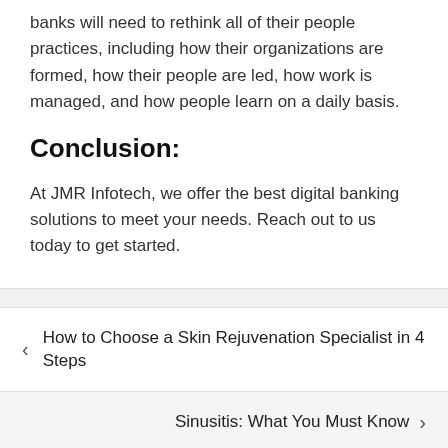banks will need to rethink all of their people practices, including how their organizations are formed, how their people are led, how work is managed, and how people learn on a daily basis.
Conclusion:
At JMR Infotech, we offer the best digital banking solutions to meet your needs. Reach out to us today to get started.
How to Choose a Skin Rejuvenation Specialist in 4 Steps
Sinusitis: What You Must Know